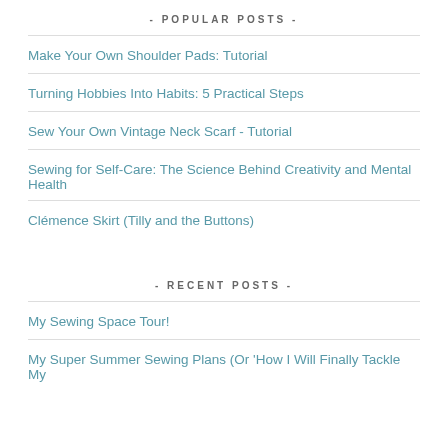- POPULAR POSTS -
Make Your Own Shoulder Pads: Tutorial
Turning Hobbies Into Habits: 5 Practical Steps
Sew Your Own Vintage Neck Scarf - Tutorial
Sewing for Self-Care: The Science Behind Creativity and Mental Health
Clémence Skirt (Tilly and the Buttons)
- RECENT POSTS -
My Sewing Space Tour!
My Super Summer Sewing Plans (Or 'How I Will Finally Tackle My